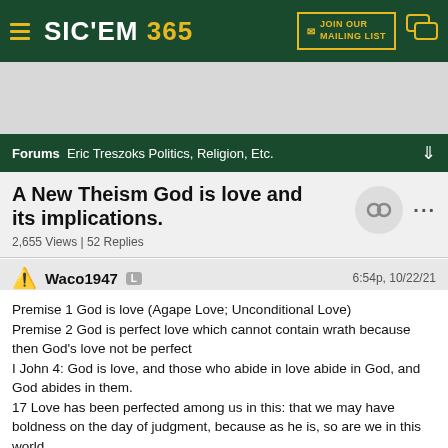SIC'EM 365 | JOIN OUR MAILING LIST
[Figure (screenshot): Advertisement placeholder area (gray)]
Forums  Eric Treszoks Politics, Religion, Etc.
A New Theism God is love and its implications.
2,655 Views | 52 Replies
Waco1947  L  6:54p, 10/22/21
Premise 1 God is love (Agape Love; Unconditional Love)
Premise 2 God is perfect love which cannot contain wrath because then God's love not be perfect
I John 4: God is love, and those who abide in love abide in God, and God abides in them.
17 Love has been perfected among us in this: that we may have boldness on the day of judgment, because as he is, so are we in this world.
18 There is no fear in love, but perfect love casts out fear; for fear has to do with punishment, and whoever fears has not reached perfection i